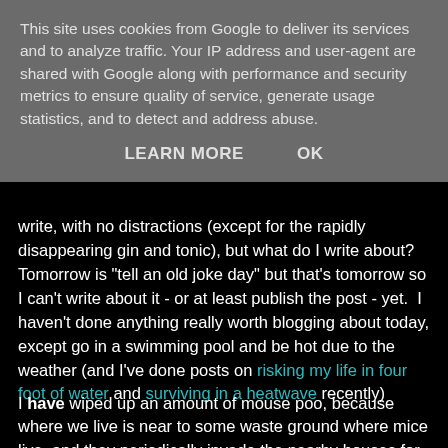This site uses cookies from Google to deliver its services and to analyze traffic. Your IP address and user-agent are shared with Google along with performance and security metrics to ensure quality of service, generate usage statistics, and to detect and address abuse.
LEARN MORE   OK
write, with no distractions (except for the rapidly disappearing gin and tonic), but what do I write about?  Tomorrow is "tell an old joke day" but that's tomorrow so I can't write about it - or at least publish the post - yet.  I haven't done anything really worth blogging about today, except go in a swimming pool and be hot due to the weather (and I've done posts on risking my life in four foot of water and surviving in a heatwave recently)
I have wiped up an amount of mouse poo, because where we live is near to some waste ground where mice live, and they periodically invade the nearby houses for shelter and food, and they have to be dealt with by whatever method the house inhabitants choose, but I don't really want to blog